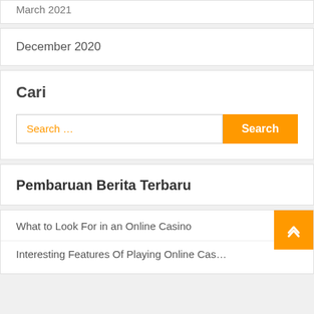March 2021
December 2020
Cari
Search …
Pembaruan Berita Terbaru
What to Look For in an Online Casino
Interesting Features Of Playing Online Cas…